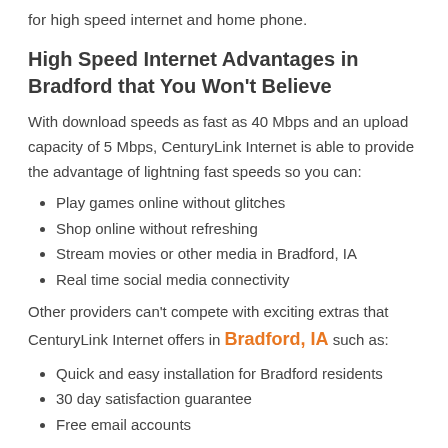for high speed internet and home phone.
High Speed Internet Advantages in Bradford that You Won't Believe
With download speeds as fast as 40 Mbps and an upload capacity of 5 Mbps, CenturyLink Internet is able to provide the advantage of lightning fast speeds so you can:
Play games online without glitches
Shop online without refreshing
Stream movies or other media in Bradford, IA
Real time social media connectivity
Other providers can't compete with exciting extras that CenturyLink Internet offers in Bradford, IA such as:
Quick and easy installation for Bradford residents
30 day satisfaction guarantee
Free email accounts